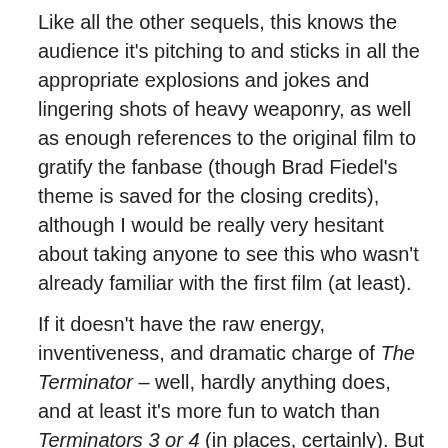Like all the other sequels, this knows the audience it's pitching to and sticks in all the appropriate explosions and jokes and lingering shots of heavy weaponry, as well as enough references to the original film to gratify the fanbase (though Brad Fiedel's theme is saved for the closing credits), although I would be really very hesitant about taking anyone to see this who wasn't already familiar with the first film (at least).
If it doesn't have the raw energy, inventiveness, and dramatic charge of The Terminator – well, hardly anything does, and at least it's more fun to watch than Terminators 3 or 4 (in places, certainly). But the prospect of yet more, even more convoluted sequels, kind of makes my heart sink a bit. Blowing up the existing timeline and letting the bits fall where they may is what powers this movie, but it's not exactly a long term strategy, and I can't imagine them